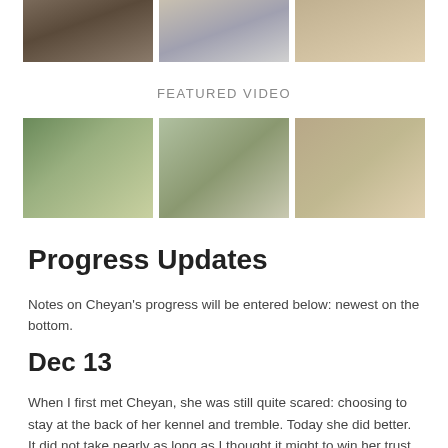[Figure (photo): Three photos of dogs in various settings — kennel, outdoors]
FEATURED VIDEO
[Figure (photo): Three photos of dogs outdoors and inside with cone]
Progress Updates
Notes on Cheyan’s progress will be entered below: newest on the bottom.
Dec 13
When I first met Cheyan, she was still quite scared: choosing to stay at the back of her kennel and tremble.  Today she did better.  It did not take nearly as long as I thought it might to win her trust enough to fit her into a harness.  I was warned that she’s a runner.  If she